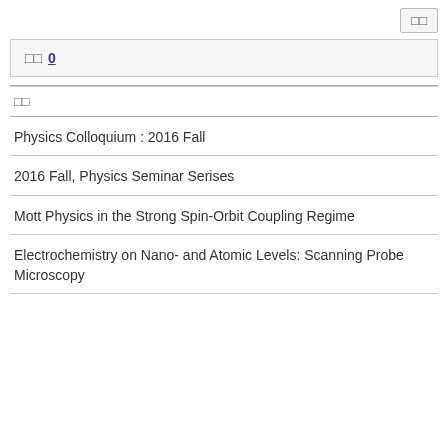□□
□□ 0
| □□ |
| --- |
| Physics Colloquium : 2016 Fall |
| 2016 Fall, Physics Seminar Serises |
| Mott Physics in the Strong Spin-Orbit Coupling Regime |
| Electrochemistry on Nano- and Atomic Levels: Scanning Probe Microscopy |